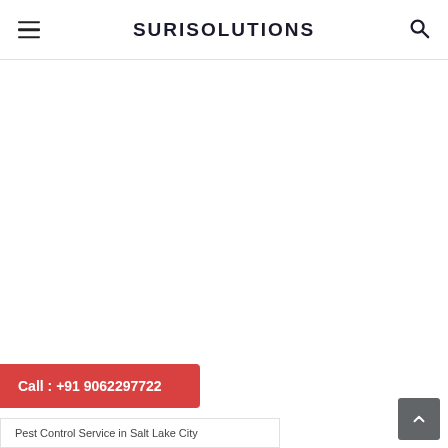SURISOLUTIONS
Call : +91 9062297722
Pest Control Service in Salt Lake City